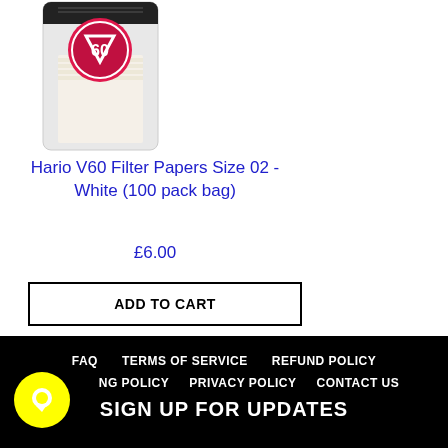[Figure (photo): Hario V60 Filter Papers product image, bag with V60 logo and pink/red circle badge showing '60', white filter papers visible inside transparent packaging]
Hario V60 Filter Papers Size 02 - White (100 pack bag)
£6.00
ADD TO CART
FAQ  TERMS OF SERVICE  REFUND POLICY  NG POLICY  PRIVACY POLICY  CONTACT US  SIGN UP FOR UPDATES